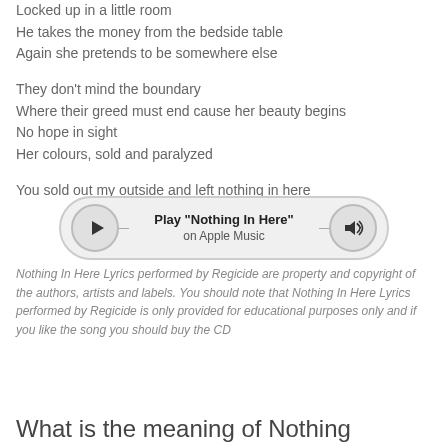Locked up in a little room
He takes the money from the bedside table
Again she pretends to be somewhere else
They don't mind the boundary
Where their greed must end cause her beauty begins
No hope in sight
Her colours, sold and paralyzed
You sold out my outside and left nothing in here
[Figure (other): Music player button for Play 'Nothing In Here' on Apple Music, with a play button on the left and a volume/speaker button on the right]
Nothing In Here Lyrics performed by Regicide are property and copyright of the authors, artists and labels. You should note that Nothing In Here Lyrics performed by Regicide is only provided for educational purposes only and if you like the song you should buy the CD
What is the meaning of Nothing